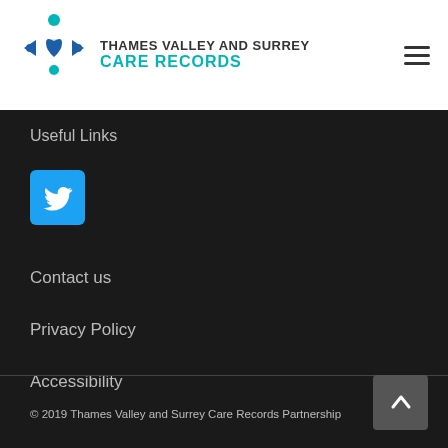Thames Valley and Surrey Care Records
Useful Links
[Figure (logo): Twitter bird icon on blue square button]
Contact us
Privacy Policy
Accessibility
© 2019 Thames Valley and Surrey Care Records Partnership